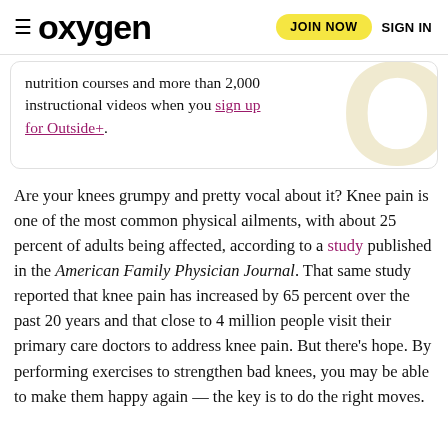≡ oxygen   JOIN NOW   SIGN IN
nutrition courses and more than 2,000 instructional videos when you sign up for Outside+.
Are your knees grumpy and pretty vocal about it? Knee pain is one of the most common physical ailments, with about 25 percent of adults being affected, according to a study published in the American Family Physician Journal. That same study reported that knee pain has increased by 65 percent over the past 20 years and that close to 4 million people visit their primary care doctors to address knee pain. But there's hope. By performing exercises to strengthen bad knees, you may be able to make them happy again — the key is to do the right moves.